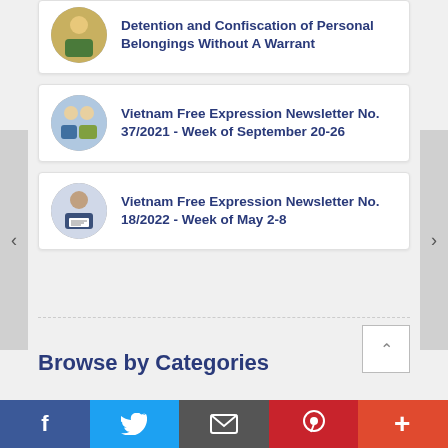Detention and Confiscation of Personal Belongings Without A Warrant
Vietnam Free Expression Newsletter No. 37/2021 - Week of September 20-26
Vietnam Free Expression Newsletter No. 18/2022 - Week of May 2-8
Browse by Categories
f  Twitter  Email  Pinterest  More